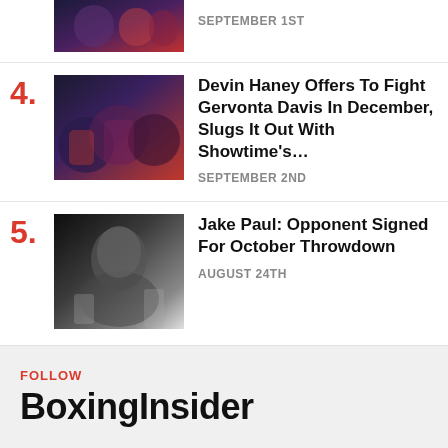[Figure (photo): Partial top article photo - boxing celebration, cropped at top]
SEPTEMBER 1ST
4. Devin Haney Offers To Fight Gervonta Davis In December, Slugs It Out With Showtime's… — SEPTEMBER 2ND
[Figure (photo): Devin Haney with championship belts, celebrating with team]
5. Jake Paul: Opponent Signed For October Throwdown — AUGUST 24TH
[Figure (photo): Jake Paul in boxing ring celebrating]
FOLLOW
BoxingInsider
Spotify